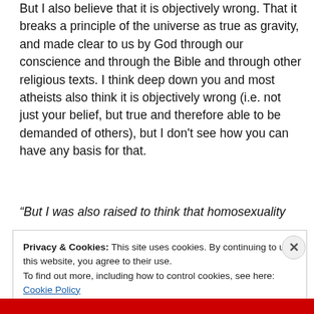But I also believe that it is objectively wrong. That it breaks a principle of the universe as true as gravity, and made clear to us by God through our conscience and through the Bible and through other religious texts. I think deep down you and most atheists also think it is objectively wrong (i.e. not just your belief, but true and therefore able to be demanded of others), but I don't see how you can have any basis for that.
“But I was also raised to think that homosexuality
Privacy & Cookies: This site uses cookies. By continuing to use this website, you agree to their use.
To find out more, including how to control cookies, see here: Cookie Policy
Close and accept